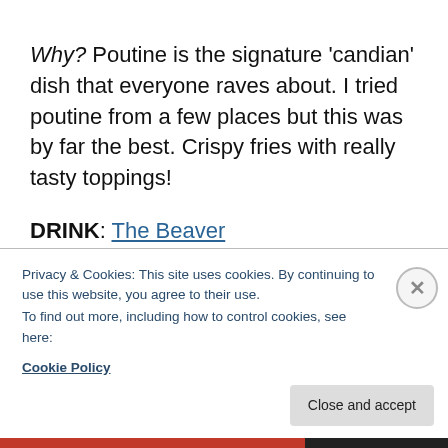Why? Poutine is the signature 'candian' dish that everyone raves about. I tried poutine from a few places but this was by far the best. Crispy fries with really tasty toppings!
DRINK: The Beaver
Why? Honestly I didn't really go out much drinking but when I did it was usually the Beaver because it's linked to the hostel and often you'd meet people not
Privacy & Cookies: This site uses cookies. By continuing to use this website, you agree to their use.
To find out more, including how to control cookies, see here:
Cookie Policy
Close and accept